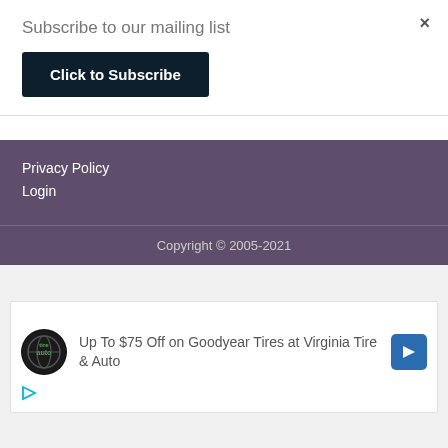×
Subscribe to our mailing list
Click to Subscribe
Privacy Policy
Login
Copyright © 2005-2021
[Figure (other): Advertisement for Virginia Tire & Auto featuring Goodyear tires discount offer with logo and navigation arrow]
Up To $75 Off on Goodyear Tires at Virginia Tire & Auto